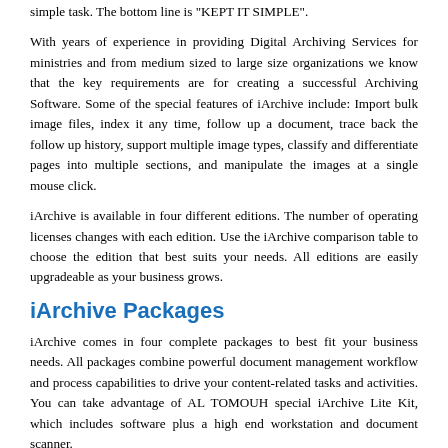simple task. The bottom line is "KEPT IT SIMPLE".
With years of experience in providing Digital Archiving Services for ministries and from medium sized to large size organizations we know that the key requirements are for creating a successful Archiving Software. Some of the special features of iArchive include: Import bulk image files, index it any time, follow up a document, trace back the follow up history, support multiple image types, classify and differentiate pages into multiple sections, and manipulate the images at a single mouse click.
iArchive is available in four different editions. The number of operating licenses changes with each edition. Use the iArchive comparison table to choose the edition that best suits your needs. All editions are easily upgradeable as your business grows.
iArchive Packages
iArchive comes in four complete packages to best fit your business needs. All packages combine powerful document management workflow and process capabilities to drive your content-related tasks and activities. You can take advantage of AL TOMOUH special iArchive Lite Kit, which includes software plus a high end workstation and document scanner.
Eliminate file storage
Instant file access